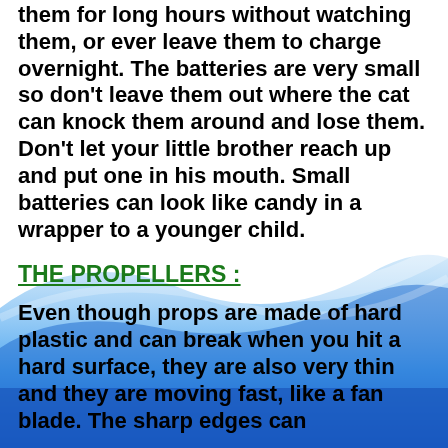them for long hours without watching them, or ever leave them to charge overnight. The batteries are very small so don't leave them out where the cat can knock them around and lose them. Don't let your little brother reach up and put one in his mouth. Small batteries can look like candy in a wrapper to a younger child.
THE PROPELLERS :
Even though props are made of hard plastic and can break when you hit a hard surface, they are also very thin and they are moving fast, like a fan blade. The sharp edges can accidentally cut someone's hand to